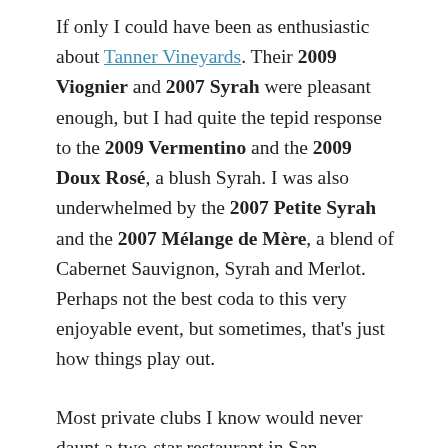If only I could have been as enthusiastic about Tanner Vineyards. Their 2009 Viognier and 2007 Syrah were pleasant enough, but I had quite the tepid response to the 2009 Vermentino and the 2009 Doux Rosé, a blush Syrah. I was also underwhelmed by the 2007 Petite Syrah and the 2007 Mélange de Mère, a blend of Cabernet Sauvignon, Syrah and Merlot. Perhaps not the best coda to this very enjoyable event, but sometimes, that's just how things play out.
Most private clubs I know would never daunt a two-star restaurant in San Francisco, and I realize that's not the point, anyway. Clubs exist to establish camaraderie and interaction between members, not to vie for one of the slots on The Next Iron Chef. Still, the hors d'œuvres at this afternoon gathering made up in volume what they may have lacked in cutting-edge culinary. I deign to criticize the cuisine only to highlight my feelings that an event of this scope ought to be held in a